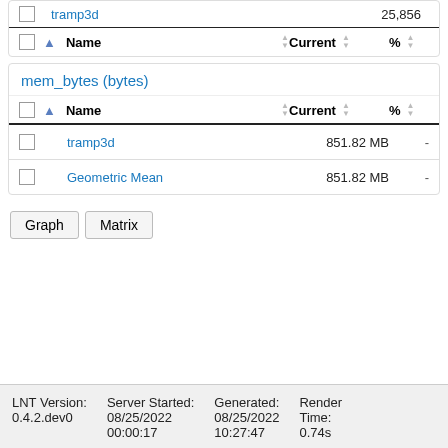|  |  | Name | Current | % |
| --- | --- | --- | --- | --- |
|  | ▲ | tramp3d | 25,856 |  |
|  |  | Name | Current | % |
mem_bytes (bytes)
|  |  | Name | Current | % |
| --- | --- | --- | --- | --- |
|  |  | tramp3d | 851.82 MB | - |
|  |  | Geometric Mean | 851.82 MB | - |
Graph   Matrix
LNT Version: 0.4.2.dev0   Server Started: 08/25/2022 00:00:17   Generated: 08/25/2022 10:27:47   Render Time: 0.74s